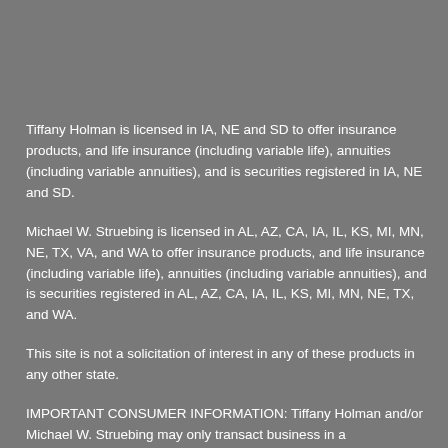Tiffany Holman is licensed in IA, NE and SD to offer insurance products, and life insurance (including variable life), annuities (including variable annuities), and is securities registered in IA, NE and SD.
Michael W. Struebing is licensed in AL, AZ, CA, IA, IL, KS, MI, MN, NE, TX, VA, and WA to offer insurance products, and life insurance (including variable life), annuities (including variable annuities), and is securities registered in AL, AZ, CA, IA, IL, KS, MI, MN, NE, TX, and WA.
This site is not a solicitation of interest in any of these products in any other state.
IMPORTANT CONSUMER INFORMATION: Tiffany Holman and/or Michael W. Struebing may only transact business in a